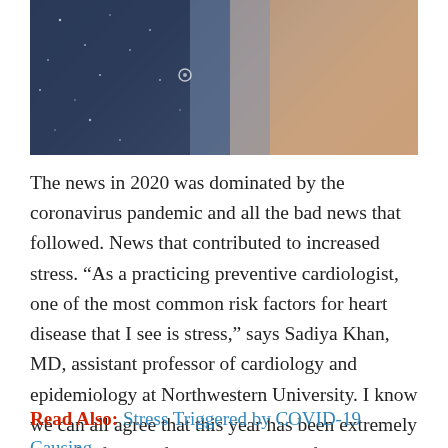[Figure (photo): Partial photo showing blurred background with dark blue speckled area on left and skin-toned blurred figures on right]
The news in 2020 was dominated by the coronavirus pandemic and all the bad news that followed. News that contributed to increased stress. “As a practicing preventive cardiologist, one of the most common risk factors for heart disease that I see is stress,” says Sadiya Khan, MD, assistant professor of cardiology and epidemiology at Northwestern University. I know we can all agree that this year has been extremely stressful for all of us in all aspects of our lives, including the stress of the pandemic and related health, financial and political events.
Read Also: Stress Triggered by COVID-19 Causing